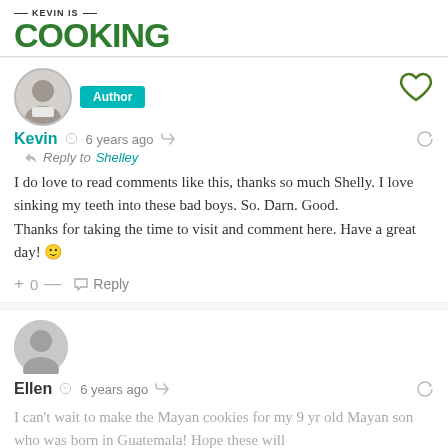KEVIN IS COOKING
[Figure (photo): Avatar photo of Kevin, a man in a circular frame]
Author
Kevin  6 years ago
Reply to Shelley
I do love to read comments like this, thanks so much Shelly. I love sinking my teeth into these bad boys. So. Darn. Good.
Thanks for taking the time to visit and comment here. Have a great day! 🙂
+ 0 —  Reply
[Figure (illustration): Generic user avatar placeholder circle]
Ellen  6 years ago
I can't wait to make the Mayan cookies for my 9 yr old Mayan son who was born in Guatemala! Hope these will